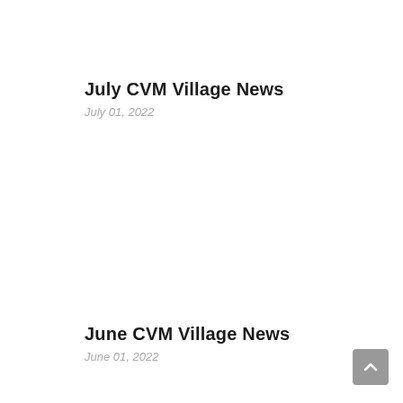July CVM Village News
July 01, 2022
June CVM Village News
June 01, 2022